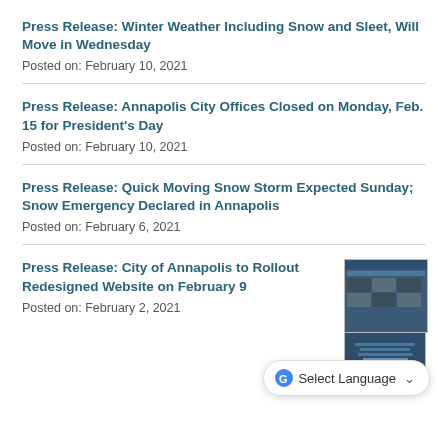Press Release: Winter Weather Including Snow and Sleet, Will Move in Wednesday
Posted on: February 10, 2021
Press Release: Annapolis City Offices Closed on Monday, Feb. 15 for President's Day
Posted on: February 10, 2021
Press Release: Quick Moving Snow Storm Expected Sunday; Snow Emergency Declared in Annapolis
Posted on: February 6, 2021
Press Release: City of Annapolis to Rollout Redesigned Website on February 9
Posted on: February 2, 2021
[Figure (screenshot): Screenshot thumbnail of the City of Annapolis redesigned website]
Select Language